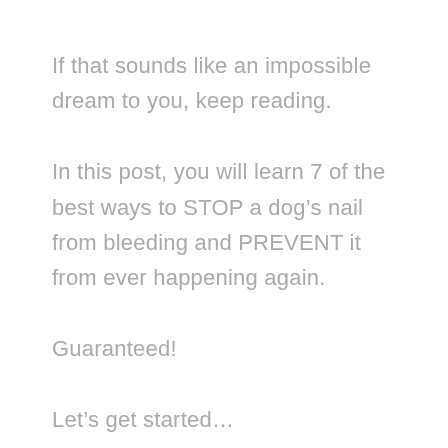If that sounds like an impossible dream to you, keep reading.
In this post, you will learn 7 of the best ways to STOP a dog’s nail from bleeding and PREVENT it from ever happening again.
Guaranteed!
Let’s get started…